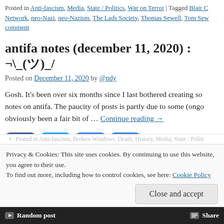Posted in Anti-fascism, Media, State / Politics, War on Terror | Tagged Blair C... Network, neo-Nazi, neo-Nazism, The Lads Society, Thomas Sewell, Tom Sew... comment
antifa notes (december 11, 2020) : ¬\_(ツ)_A
Posted on December 11, 2020 by @ndy
Gosh. It's been over six months since I last bothered creating so... notes on antifa. The paucity of posts is partly due to some (ongo... obviously been a fair bit of … Continue reading →
[Figure (other): Social share buttons: Facebook, Twitter, Email, More]
Posted in Anti-fascism, Broken Windows, Death, History, Media, State / Politi...
Privacy & Cookies: This site uses cookies. By continuing to use this website, you agree to their use.
To find out more, including how to control cookies, see here: Cookie Policy
Close and accept
Random post    Share